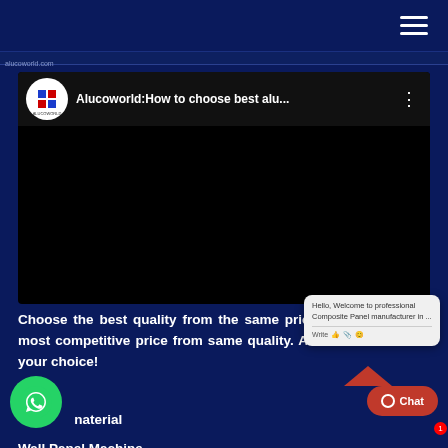Navigation bar with hamburger menu
[Figure (screenshot): YouTube video embed showing Alucoworld logo and title 'Alucoworld:How to choose best alu...' with dark video area]
Choose the best quality from the same price, and choose the most competitive price from same quality. Alucoworld is worth your choice!
Links↓
material
Wall Panel Machine
[Figure (screenshot): Chat popup: Hello, Welcome to professional Composite Panel manufacturer in... with Write bar]
[Figure (logo): WhatsApp green circle button]
[Figure (screenshot): Chat button with notification badge showing 1, red background]